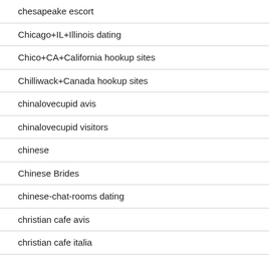chesapeake escort
Chicago+IL+Illinois dating
Chico+CA+California hookup sites
Chilliwack+Canada hookup sites
chinalovecupid avis
chinalovecupid visitors
chinese
Chinese Brides
chinese-chat-rooms dating
christian cafe avis
christian cafe italia